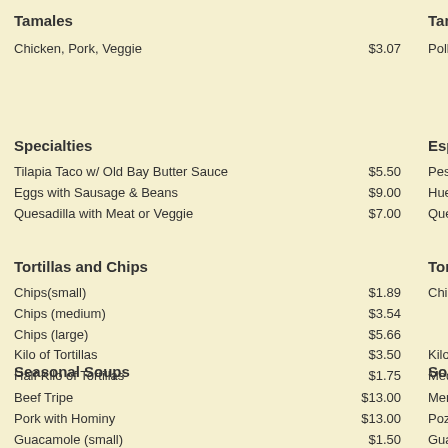Tamales
Chicken, Pork, Veggie  $3.07
Tamales (Spanish)
Pollo, Puerco, Raja...
Specialties
Tilapia Taco w/ Old Bay Butter Sauce  $5.50
Eggs with Sausage & Beans  $9.00
Quesadilla with Meat or Veggie  $7.00
Especiales
Pescado Taco con...
Huevos con Choriz...
Quesadilla con Ca...
Tortillas and Chips
Chips(small)  $1.89
Chips (medium)  $3.54
Chips (large)  $5.66
Kilo of Tortillas  $3.50
Half Kilo of Tortillas  $1.75
Tortillas y Chip...
Chips
Kilo de Tortillas
Medio Kilo de Torti...
Seasonal Soups
Beef Tripe  $13.00
Pork with Hominy  $13.00
Guacamole (small)  $1.50
Guacamole (medium)  $6.00
Guacamole (large)  $12.00
Sopas Estacion...
Menudo
Pozole
Guacamole (small)
Guacamole (mediu...
Guacamole (large)